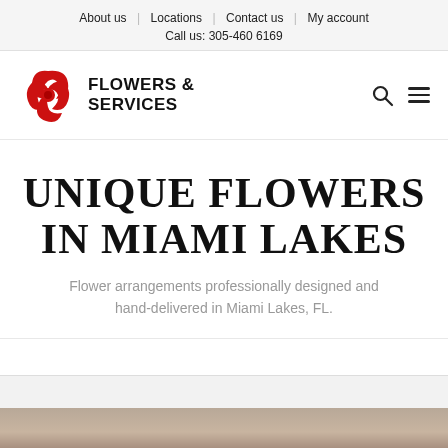About us | Locations | Contact us | My account
Call us: 305-460 6169
[Figure (logo): Flowers & Services logo with red floral illustration and bold text 'FLOWERS & SERVICES']
UNIQUE FLOWERS IN MIAMI LAKES
Flower arrangements professionally designed and hand-delivered in Miami Lakes, FL.